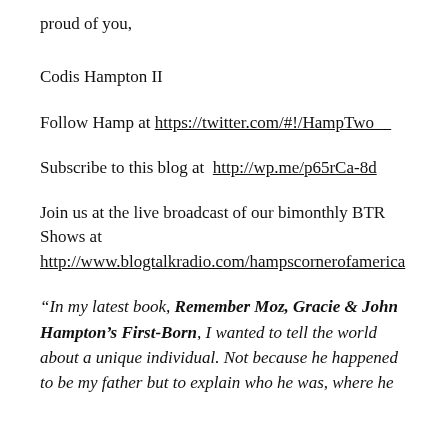proud of you,
Codis Hampton II
Follow Hamp at https://twitter.com/#!/HampTwo__
Subscribe to this blog at  http://wp.me/p65rCa-8d
Join us at the live broadcast of our bimonthly BTR Shows at http://www.blogtalkradio.com/hampscornerofamerica
“In my latest book, Remember Moz, Gracie & John Hampton’s First-Born, I wanted to tell the world about a unique individual. Not because he happened to be my father but to explain who he was, where he